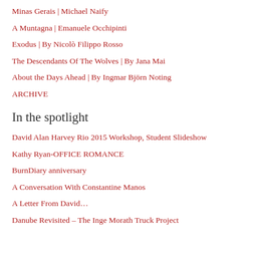Minas Gerais | Michael Naify
A Muntagna | Emanuele Occhipinti
Exodus | By Nicolò Filippo Rosso
The Descendants Of The Wolves | By Jana Mai
About the Days Ahead | By Ingmar Björn Noting
ARCHIVE
In the spotlight
David Alan Harvey Rio 2015 Workshop, Student Slideshow
Kathy Ryan-OFFICE ROMANCE
BurnDiary anniversary
A Conversation With Constantine Manos
A Letter From David…
Danube Revisited – The Inge Morath Truck Project